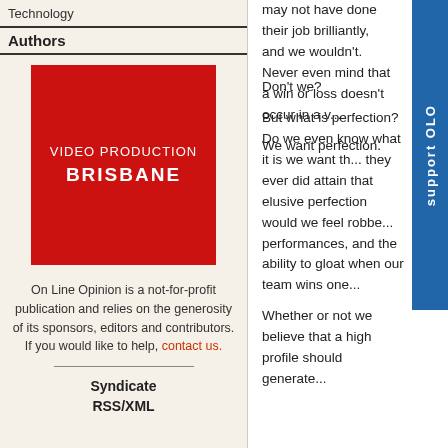Technology
Authors
[Figure (logo): Red advertisement box with white text reading VIDEO PRODUCTION BRISBANE]
On Line Opinion is a not-for-profit publication and relies on the generosity of its sponsors, editors and contributors. If you would like to help, contact us.
Syndicate RSS/XML
may not have done their job brilliantly, and we wouldn't. Never even mind that a win or loss doesn't occur in a v...
We want perfection.
Don't we?
But what is perfection? Do we even know what it is we want th... they ever did attain that elusive perfection would we feel robbe... performances, and the ability to gloat when our team wins one...
Whether or not we believe that a high profile should generate...